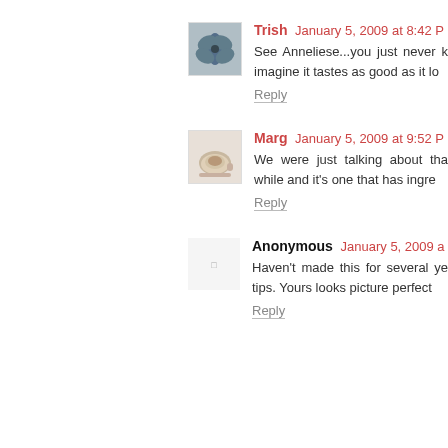[Figure (photo): Avatar image of Trish showing a blue butterfly]
Trish January 5, 2009 at 8:42 P
See Anneliese...you just never k imagine it tastes as good as it lo
Reply
[Figure (photo): Avatar image of Marg showing a coffee cup with latte art]
Marg January 5, 2009 at 9:52 P
We were just talking about tha while and it's one that has ingre
Reply
Anonymous January 5, 2009 a
Haven't made this for several ye tips. Yours looks picture perfect
Reply